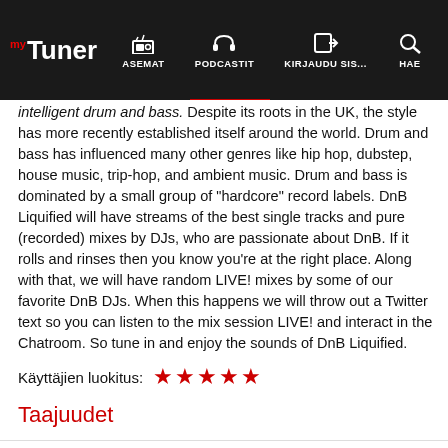myTuner — ASEMAT | PODCASTIT | KIRJAUDU SIS... | HAE
intelligent drum and bass. Despite its roots in the UK, the style has more recently established itself around the world. Drum and bass has influenced many other genres like hip hop, dubstep, house music, trip-hop, and ambient music. Drum and bass is dominated by a small group of "hardcore" record labels. DnB Liquified will have streams of the best single tracks and pure (recorded) mixes by DJs, who are passionate about DnB. If it rolls and rinses then you know you're at the right place. Along with that, we will have random LIVE! mixes by some of our favorite DnB DJs. When this happens we will throw out a Twitter text so you can listen to the mix session LIVE! and interact in the Chatroom. So tune in and enjoy the sounds of DnB Liquified.
Käyttäjien luokitus: ★★★★★
Taajuudet
|  |  |
| --- | --- |
| Lontoo | Online |